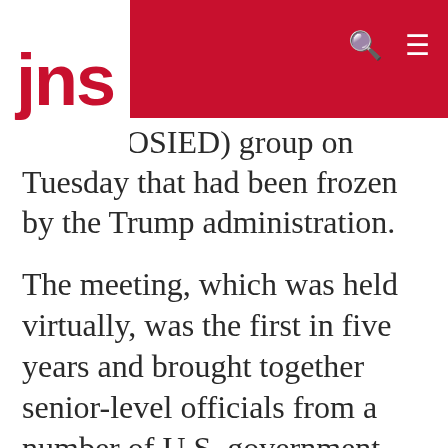jns
alogue (OSIED) group on Tuesday that had been frozen by the Trump administration.
The meeting, which was held virtually, was the first in five years and brought together senior-level officials from a number of U.S. government agencies and the Palestinian Authority to discuss current and future areas of economic development.